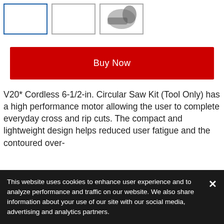[Figure (photo): Three product thumbnail images in a row showing a circular saw. The first (leftmost) thumbnail has a blue border indicating it is selected. The third thumbnail shows a partial view of the saw's blade/guard.]
[Figure (other): Red 'Buy Now' button]
V20* Cordless 6-1/2-in. Circular Saw Kit (Tool Only) has a high performance motor allowing the user to complete everyday cross and rip cuts. The compact and lightweight design helps reduced user fatigue and the contoured over-
This website uses cookies to enhance user experience and to analyze performance and traffic on our website. We also share information about your use of our site with our social media, advertising and analytics partners.